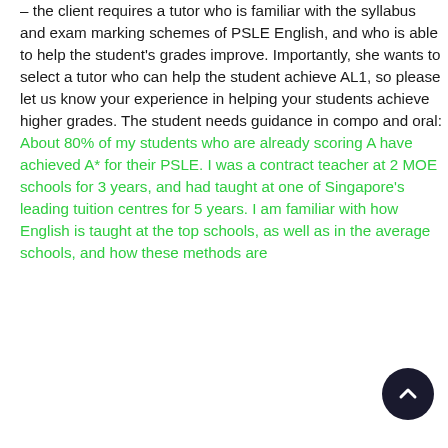– the client requires a tutor who is familiar with the syllabus and exam marking schemes of PSLE English, and who is able to help the student's grades improve. Importantly, she wants to select a tutor who can help the student achieve AL1, so please let us know your experience in helping your students achieve higher grades. The student needs guidance in compo and oral: About 80% of my students who are already scoring A have achieved A* for their PSLE. I was a contract teacher at 2 MOE schools for 3 years, and had taught at one of Singapore's leading tuition centres for 5 years. I am familiar with how English is taught at the top schools, as well as in the average schools, and how these methods are